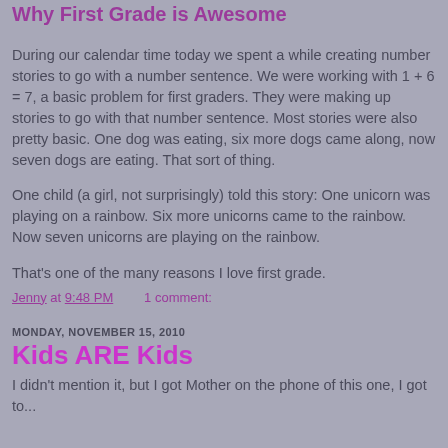Why First Grade is Awesome
During our calendar time today we spent a while creating number stories to go with a number sentence. We were working with 1 + 6 = 7, a basic problem for first graders. They were making up stories to go with that number sentence. Most stories were also pretty basic. One dog was eating, six more dogs came along, now seven dogs are eating. That sort of thing.
One child (a girl, not surprisingly) told this story: One unicorn was playing on a rainbow. Six more unicorns came to the rainbow. Now seven unicorns are playing on the rainbow.
That's one of the many reasons I love first grade.
Jenny at 9:48 PM    1 comment:
MONDAY, NOVEMBER 15, 2010
Kids ARE Kids
I didn't mention it, but I got Mother on the phone of this one, I got to...